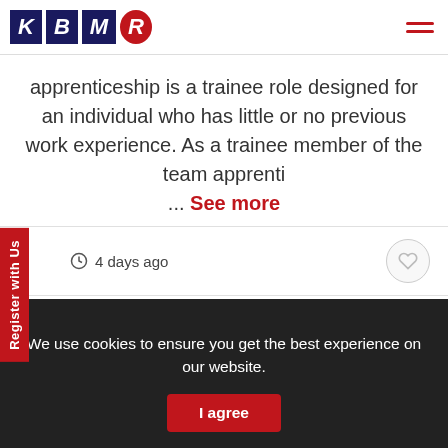KBMR logo and navigation
apprenticeship is a trainee role designed for an individual who has little or no previous work experience. As a trainee member of the team apprenti ... See more
4 days ago
‹ 1 2 3 4 5 6 7 8 ... 1174 1175 ›
Register with Us
We use cookies to ensure you get the best experience on our website. I agree